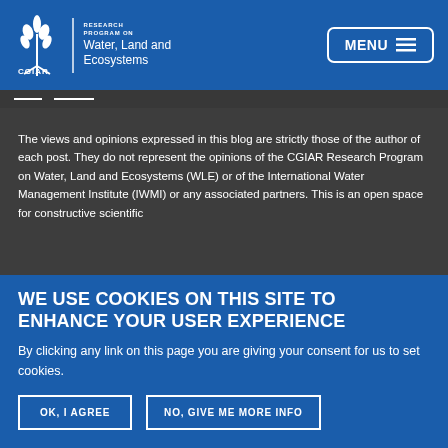CGIAR Research Program on Water, Land and Ecosystems — MENU
The views and opinions expressed in this blog are strictly those of the author of each post. They do not represent the opinions of the CGIAR Research Program on Water, Land and Ecosystems (WLE) or of the International Water Management Institute (IWMI) or any associated partners. This is an open space for constructive scientific
WE USE COOKIES ON THIS SITE TO ENHANCE YOUR USER EXPERIENCE
By clicking any link on this page you are giving your consent for us to set cookies.
OK, I AGREE
NO, GIVE ME MORE INFO